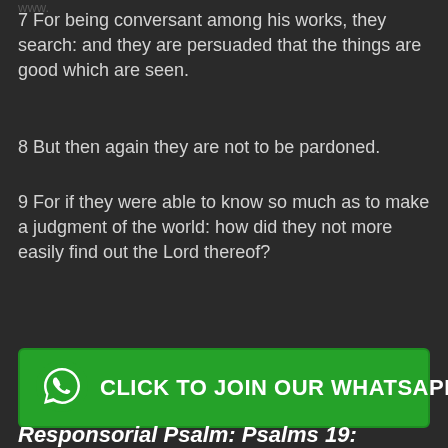7 For being conversant among his works, they search: and they are persuaded that the things are good which are seen.
8 But then again they are not to be pardoned.
9 For if they were able to know so much as to make a judgment of the world: how did they not more easily find out the Lord thereof?
[Figure (other): Green WhatsApp button with phone icon and text: CLICK TO JOIN OUR WHATSAPP GROUP]
Responsorial Psalm: Psalms 19: